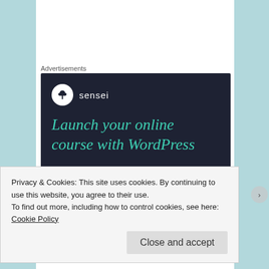Advertisements
[Figure (illustration): Sensei advertisement banner with dark navy background showing the Sensei logo (tree icon in white circle) and text 'Launch your online course with WordPress' in teal/green italic serif font]
Hannah G   April 2, 2015 at 1:14 pm
Privacy & Cookies: This site uses cookies. By continuing to use this website, you agree to their use.
To find out more, including how to control cookies, see here: Cookie Policy
Close and accept